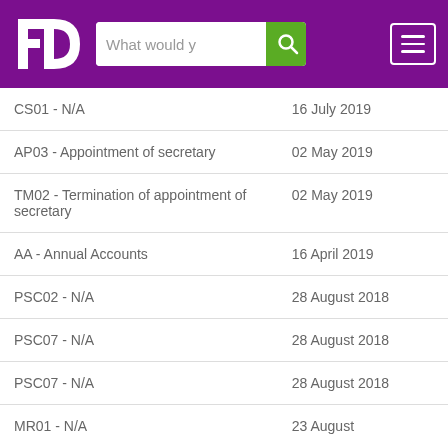[Figure (logo): FD logo on purple background with search bar and hamburger menu]
| Filing type | Date |
| --- | --- |
| CS01 - N/A | 16 July 2019 |
| AP03 - Appointment of secretary | 02 May 2019 |
| TM02 - Termination of appointment of secretary | 02 May 2019 |
| AA - Annual Accounts | 16 April 2019 |
| PSC02 - N/A | 28 August 2018 |
| PSC07 - N/A | 28 August 2018 |
| PSC07 - N/A | 28 August 2018 |
| MR01 - N/A | 23 August |